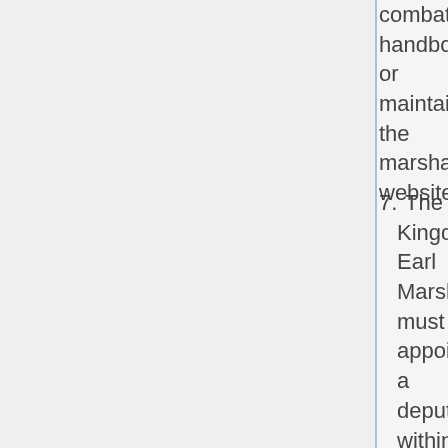combat handbook or maintaining the marshal website.
7. The Kingdom Earl Marshal must appoint a deputy within six months of assuming